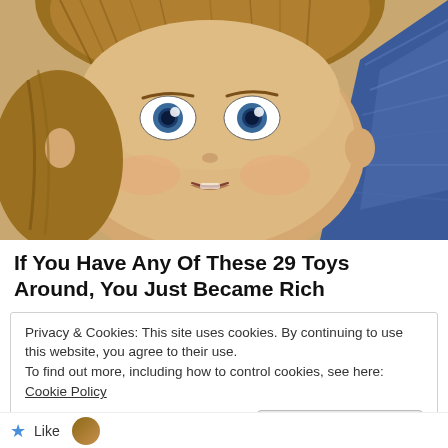[Figure (photo): Close-up photo of an American Girl doll face with blue eyes, light brown hair, and a blue ribbon/accessory on the right side]
If You Have Any Of These 29 Toys Around, You Just Became Rich
Privacy & Cookies: This site uses cookies. By continuing to use this website, you agree to their use.
To find out more, including how to control cookies, see here: Cookie Policy
Close and accept
Like